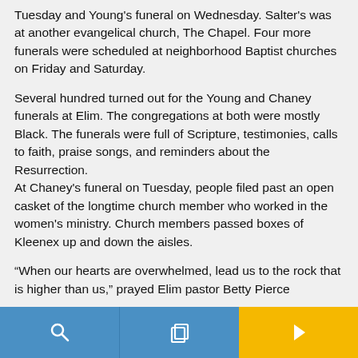Tuesday and Young's funeral on Wednesday. Salter's was at another evangelical church, The Chapel. Four more funerals were scheduled at neighborhood Baptist churches on Friday and Saturday.
Several hundred turned out for the Young and Chaney funerals at Elim. The congregations at both were mostly Black. The funerals were full of Scripture, testimonies, calls to faith, praise songs, and reminders about the Resurrection.
At Chaney's funeral on Tuesday, people filed past an open casket of the longtime church member who worked in the women's ministry. Church members passed boxes of Kleenex up and down the aisles.
“When our hearts are overwhelmed, lead us to the rock that is higher than us,” prayed Elim pastor Betty Pierce
[Figure (other): Navigation toolbar with three sections: search icon (blue), copy/layers icon (blue), and forward/next arrow icon (yellow/gold)]